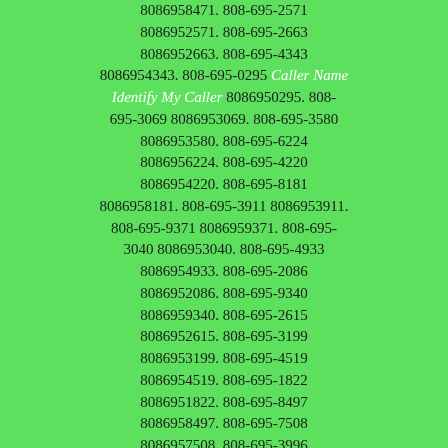8086958471. 808-695-2571 8086952571. 808-695-2663 8086952663. 808-695-4343 8086954343. 808-695-0295 Caller Name Identify My Caller 8086950295. 808-695-3069 8086953069. 808-695-3580 8086953580. 808-695-6224 8086956224. 808-695-4220 8086954220. 808-695-8181 8086958181. 808-695-3911 8086953911. 808-695-9371 8086959371. 808-695-3040 8086953040. 808-695-4933 8086954933. 808-695-2086 8086952086. 808-695-9340 8086959340. 808-695-2615 8086952615. 808-695-3199 8086953199. 808-695-4519 8086954519. 808-695-1822 8086951822. 808-695-8497 8086958497. 808-695-7508 8086957508. 808-695-3996 8086953996. 808-695-6597 8086956597. 808-695-2557 8086952557. 808-695-0265 Caller Name Identify My Caller 8086950265. 808-